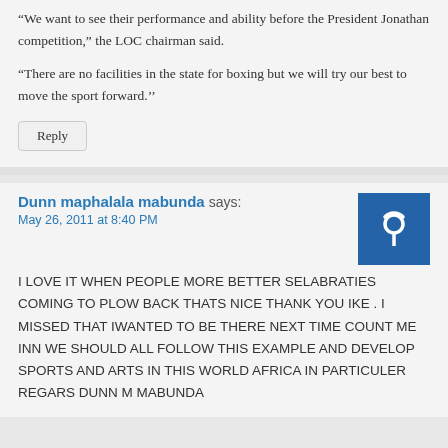“We want to see their performance and ability before the President Jonathan competition,” the LOC chairman said.
“There are no facilities in the state for boxing but we will try our best to move the sport forward.”
Reply
Dunn maphalala mabunda says:
May 26, 2011 at 8:40 PM
I LOVE IT WHEN PEOPLE MORE BETTER SELABRATIES COMING TO PLOW BACK THATS NICE THANK YOU IKE . I MISSED THAT IWANTED TO BE THERE NEXT TIME COUNT ME INN WE SHOULD ALL FOLLOW THIS EXAMPLE AND DEVELOP SPORTS AND ARTS IN THIS WORLD AFRICA IN PARTICULER REGARS DUNN M MABUNDA